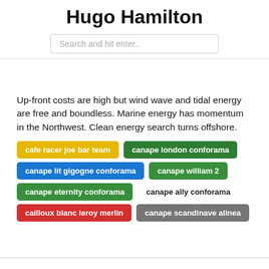Hugo Hamilton
Search and hit enter..
Up-front costs are high but wind wave and tidal energy are free and boundless. Marine energy has momentum in the Northwest. Clean energy search turns offshore.
cafe racer joe bar team
canape london conforama
canape lit gigogne conforama
canape william 2
canape eternity conforama
canape ally conforama
cailloux blanc leroy merlin
canape scandinave alinea